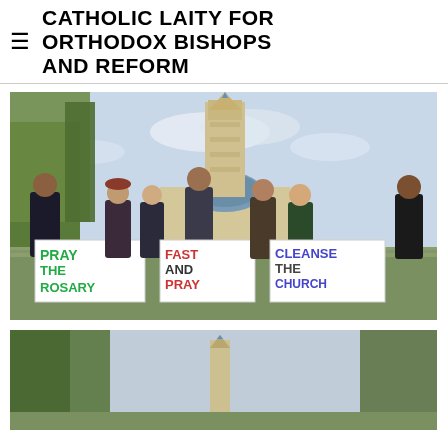CATHOLIC LAITY FOR ORTHODOX BISHOPS AND REFORM
[Figure (photo): Group of people standing in front of the Basilica of the National Shrine of the Immaculate Conception holding signs reading PRAY THE ROSARY, FAST AND PRAY, and CLEANSE THE CHURCH]
[Figure (photo): Partial view of the Basilica of the National Shrine of the Immaculate Conception tower visible through trees]